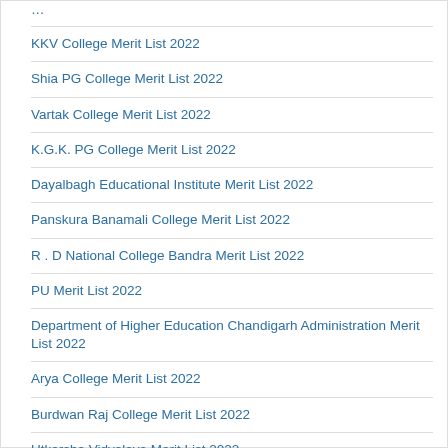KKV College Merit List 2022
Shia PG College Merit List 2022
Vartak College Merit List 2022
K.G.K. PG College Merit List 2022
Dayalbagh Educational Institute Merit List 2022
Panskura Banamali College Merit List 2022
R . D National College Bandra Merit List 2022
PU Merit List 2022
Department of Higher Education Chandigarh Administration Merit List 2022
Arya College Merit List 2022
Burdwan Raj College Merit List 2022
Utkarsha Vidyalaya Merit List 2022
Ananda Chandra College Merit List 2022
Jadavpur University Merit List 2022